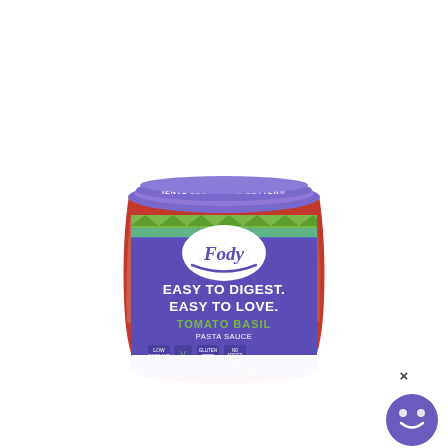[Figure (photo): A glass jar of Fody Tomato Basil Pasta Sauce. The jar has a purple lid with text 'IENTS JUST TASTE BETTER'. The label is purple and green with the Fody brand logo, text 'EASY TO DIGEST. EASY TO LOVE.' and 'TOMATO BASIL PASTA SAUCE'. The bottom shows NET WT. 19.4 OZ (550g). The jar contains red tomato sauce visible through the glass. A white card overlay and an X close button appear in the lower right. A purple smiley face chat button appears in the bottom right corner.]